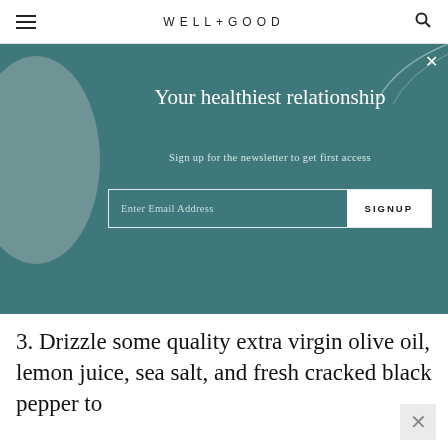WELL+GOOD
[Figure (screenshot): Teal newsletter signup modal overlay with decorative circle on left and curved line on top-right. Contains headline 'Your healthiest relationship', subheading 'Sign up for the newsletter to get first access', and an email signup form with 'Enter Email Address' placeholder and 'SIGNUP' button.]
Your healthiest relationship
Sign up for the newsletter to get first access
3. Drizzle some quality extra virgin olive oil, lemon juice, sea salt, and fresh cracked black pepper to